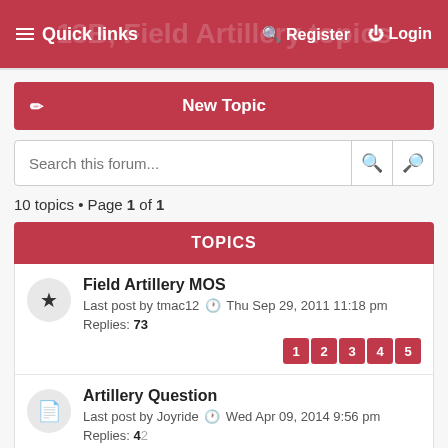≡ Quick links   Register   Login
13B, Field Artillery topics
New Topic
Search this forum...
10 topics • Page 1 of 1
TOPICS
Field Artillery MOS
Last post by tmac12  Thu Sep 29, 2011 11:18 pm
Replies: 73
Pages: 1 2 3 4 5
Artillery Question
Last post by Joyride  Wed Apr 09, 2014 9:56 pm
Replies: 42